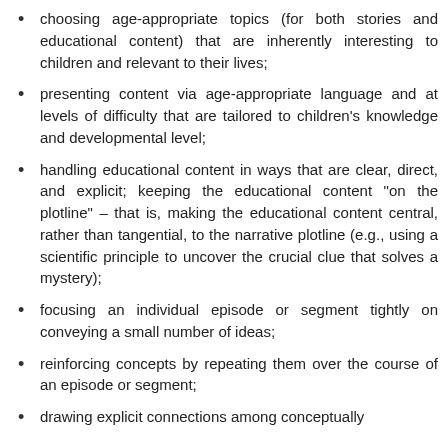choosing age-appropriate topics (for both stories and educational content) that are inherently interesting to children and relevant to their lives;
presenting content via age-appropriate language and at levels of difficulty that are tailored to children's knowledge and developmental level;
handling educational content in ways that are clear, direct, and explicit; keeping the educational content "on the plotline" – that is, making the educational content central, rather than tangential, to the narrative plotline (e.g., using a scientific principle to uncover the crucial clue that solves a mystery);
focusing an individual episode or segment tightly on conveying a small number of ideas;
reinforcing concepts by repeating them over the course of an episode or segment;
drawing explicit connections among conceptually